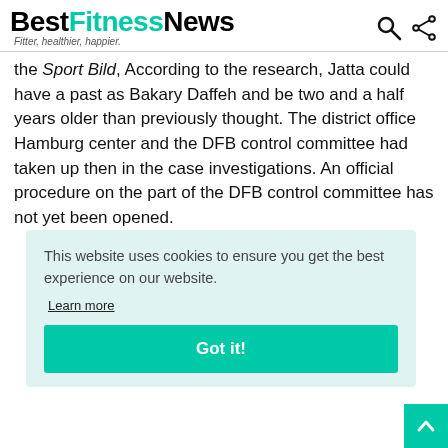BestFitnessNews — Fitter, healthier, happier.
the Sport Bild, According to the research, Jatta could have a past as Bakary Daffeh and be two and a half years older than previously thought. The district office Hamburg center and the DFB control committee had taken up then in the case investigations. An official procedure on the part of the DFB control committee has not yet been opened.
This website uses cookies to ensure you get the best experience on our website. Learn more Got it!